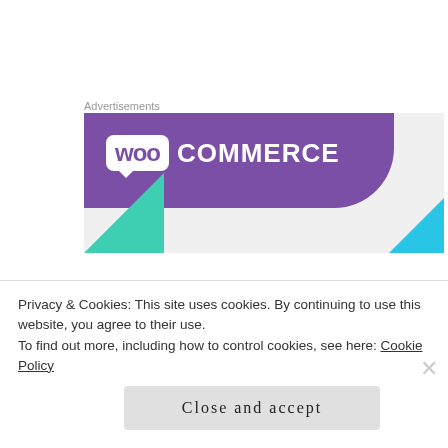Advertisements
[Figure (logo): WooCommerce advertisement banner with purple background, white WOO logo box, COMMERCE text in white, green triangle bottom-left, blue triangle bottom-right]
And salad of mixed greens, diced cucumber, grape tomatoes, slivered radishes, red onion, Sheep's milk
Privacy & Cookies: This site uses cookies. By continuing to use this website, you agree to their use.
To find out more, including how to control cookies, see here: Cookie Policy
Close and accept